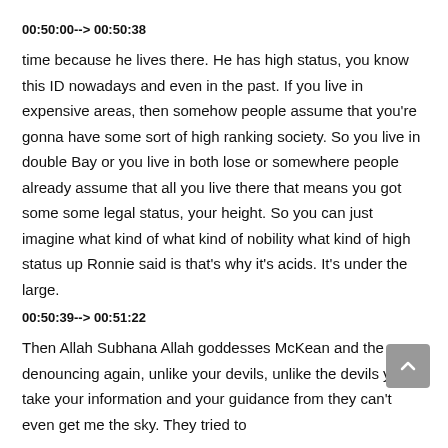00:50:00--> 00:50:38
time because he lives there. He has high status, you know this ID nowadays and even in the past. If you live in expensive areas, then somehow people assume that you're gonna have some sort of high ranking society. So you live in double Bay or you live in both lose or somewhere people already assume that all you live there that means you got some some legal status, your height. So you can just imagine what kind of what kind of nobility what kind of high status up Ronnie said is that's why it's acids. It's under the large.
00:50:39--> 00:51:22
Then Allah Subhana Allah goddesses McKean and the denouncing again, unlike your devils, unlike the devils you take your information and your guidance from they can't even get me the sky. They tried to